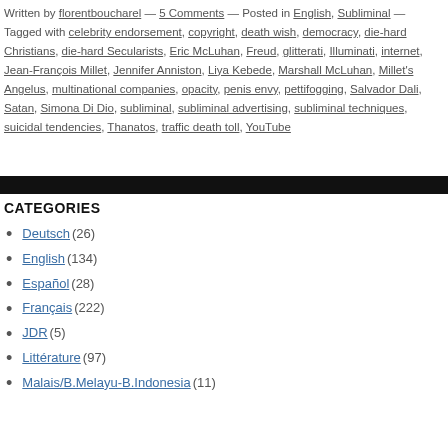Written by florentboucharel — 5 Comments — Posted in English, Subliminal — Tagged with celebrity endorsement, copyright, death wish, democracy, die-hard Christians, die-hard Secularists, Eric McLuhan, Freud, glitterati, Illuminati, internet, Jean-François Millet, Jennifer Anniston, Liya Kebede, Marshall McLuhan, Millet's Angelus, multinational companies, opacity, penis envy, pettifogging, Salvador Dali, Satan, Simona Di Dio, subliminal, subliminal advertising, subliminal techniques, suicidal tendencies, Thanatos, traffic death toll, YouTube
CATEGORIES
Deutsch (26)
English (134)
Español (28)
Français (222)
JDR (5)
Littérature (97)
Malais/B.Melayu-B.Indonesia (11)